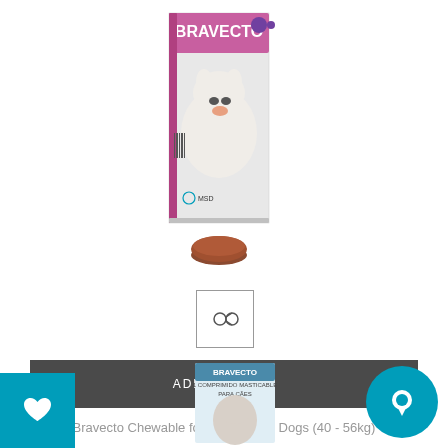[Figure (photo): Bravecto chewable product box for extra large dogs showing a large white dog on the packaging, with a brown chewable tablet in front of the box]
[Figure (photo): Small thumbnail image of the Bravecto product in a bordered box]
ADD TO CART
Bravecto Chewable for Extra Large Dogs (40 - 56kg)
R 710.00
[Figure (photo): Bottom partial view of another Bravecto product box]
[Figure (infographic): Teal/cyan heart wishlist button on bottom left]
[Figure (infographic): Teal/cyan circular chat button on bottom right]